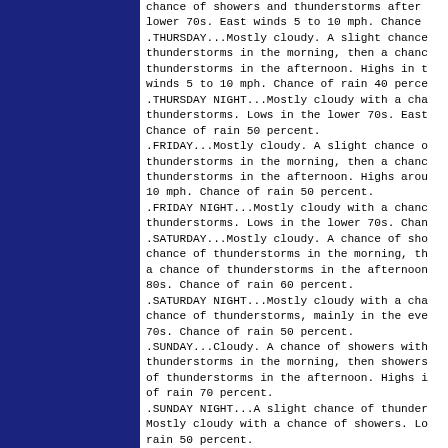chance of showers and thunderstorms after lower 70s. East winds 5 to 10 mph. Chance .THURSDAY...Mostly cloudy. A slight chance thunderstorms in the morning, then a chanc thunderstorms in the afternoon. Highs in t winds 5 to 10 mph. Chance of rain 40 perce .THURSDAY NIGHT...Mostly cloudy with a cha thunderstorms. Lows in the lower 70s. East Chance of rain 50 percent. .FRIDAY...Mostly cloudy. A slight chance o thunderstorms in the morning, then a chanc thunderstorms in the afternoon. Highs arou 10 mph. Chance of rain 50 percent. .FRIDAY NIGHT...Mostly cloudy with a chanc thunderstorms. Lows in the lower 70s. Chan .SATURDAY...Mostly cloudy. A chance of sho chance of thunderstorms in the morning, th a chance of thunderstorms in the afternoon 80s. Chance of rain 60 percent. .SATURDAY NIGHT...Mostly cloudy with a cha chance of thunderstorms, mainly in the eve 70s. Chance of rain 50 percent. .SUNDAY...Cloudy. A chance of showers with thunderstorms in the morning, then showers of thunderstorms in the afternoon. Highs i of rain 70 percent. .SUNDAY NIGHT...A slight chance of thunder Mostly cloudy with a chance of showers. Lo rain 50 percent. .LABOR DAY...Mostly cloudy. A chance of sh then a chance of showers and thunderstorms Highs in the mid 80s. Chance of rain 50 pe